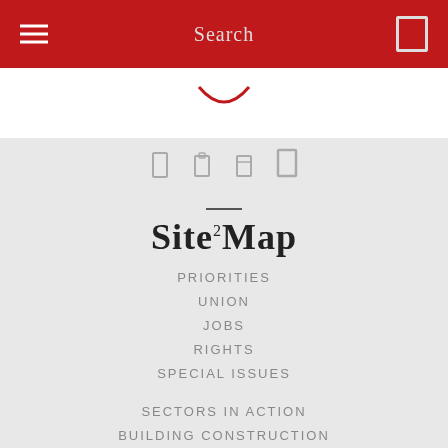Search
Site Map
PRIORITIES
UNION
JOBS
RIGHTS
SPECIAL ISSUES
SECTORS IN ACTION
BUILDING CONSTRUCTION
BUILDING MATERIALS
WOOD AND FORESTRY
ALLIED INDUSTRIES
REGIONS IN MOVEMENT